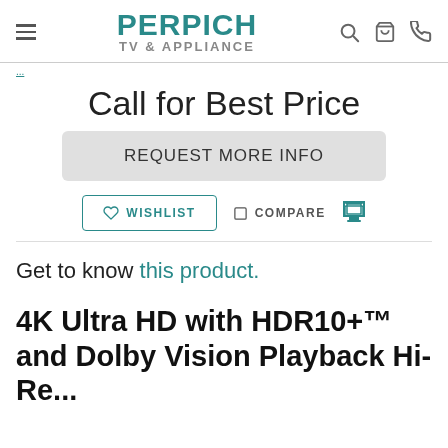PERPICH TV & APPLIANCE
Call for Best Price
REQUEST MORE INFO
WISHLIST
COMPARE
Get to know this product.
4K Ultra HD with HDR10+™ and Dolby Vision Playback Hi-Re...